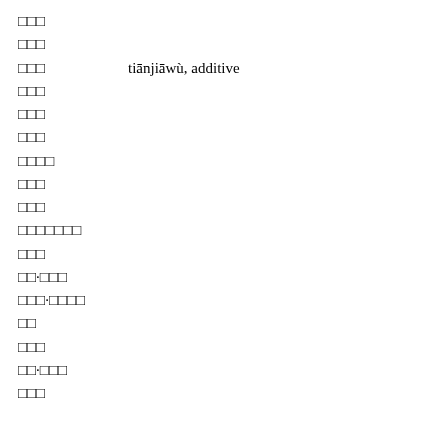□□□
□□□
□□□    tiānjiāwù, additive
□□□
□□□
□□□
□□□□
□□□
□□□
□□□□□□□
□□□
□□·□□□
□□□·□□□□
□□
□□□
□□·□□□
□□□